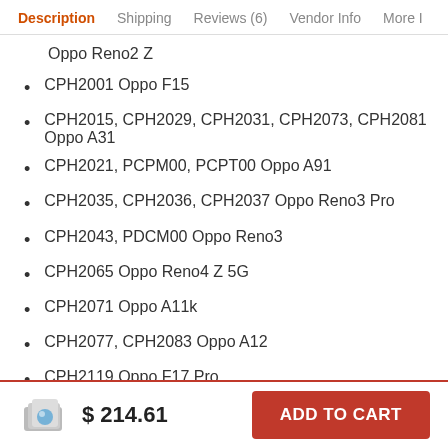Description  Shipping  Reviews (6)  Vendor Info  More
Oppo Reno2 Z
CPH2001 Oppo F15
CPH2015, CPH2029, CPH2031, CPH2073, CPH2081 Oppo A31
CPH2021, PCPM00, PCPT00 Oppo A91
CPH2035, CPH2036, CPH2037 Oppo Reno3 Pro
CPH2043, PDCM00 Oppo Reno3
CPH2065 Oppo Reno4 Z 5G
CPH2071 Oppo A11k
CPH2077, CPH2083 Oppo A12
CPH2119 Oppo F17 Pro